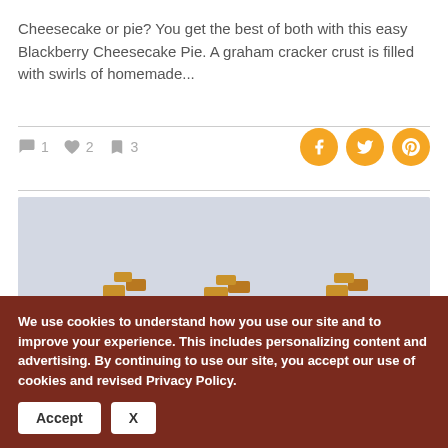Cheesecake or pie? You get the best of both with this easy Blackberry Cheesecake Pie. A graham cracker crust is filled with swirls of homemade...
1  2  3 (comments, likes, bookmarks count)
[Figure (photo): Photo of decorated cupcakes or pastries topped with swirls of cream and caramel-drizzled square pieces on a light blue background]
We use cookies to understand how you use our site and to improve your experience. This includes personalizing content and advertising. By continuing to use our site, you accept our use of cookies and revised Privacy Policy.
Accept  X